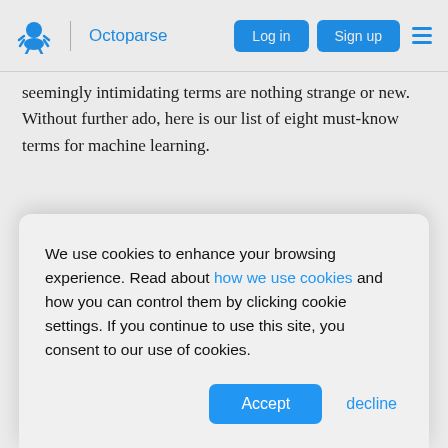Octoparse | Log in  Sign up
seemingly intimidating terms are nothing strange or new. Without further ado, here is our list of eight must-know terms for machine learning.
In this article:
Neural network
Overfitting
We use cookies to enhance your browsing experience. Read about how we use cookies and how you can control them by clicking cookie settings. If you continue to use this site, you consent to our use of cookies.